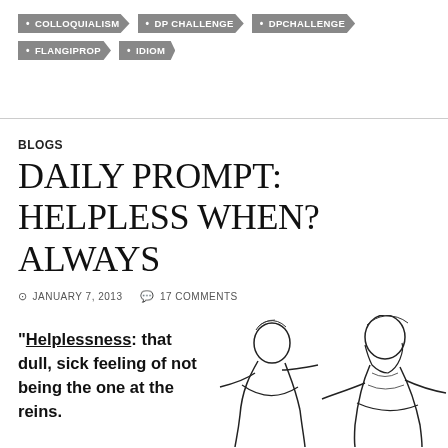• COLLOQUIALISM
• DP CHALLENGE
• DPCHALLENGE
• FLANGIPROP
• IDIOM
BLOGS
DAILY PROMPT: HELPLESS WHEN? ALWAYS
JANUARY 7, 2013   17 COMMENTS
“Helplessness: that dull, sick feeling of not being the one at the reins.
[Figure (illustration): Black and white line drawing of two dejected-looking men, one leaning forward with head bowed and one sitting slumped]